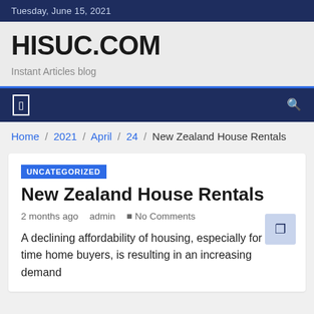Tuesday, June 15, 2021
HISUC.COM
Instant Articles blog
Home / 2021 / April / 24 / New Zealand House Rentals
UNCATEGORIZED
New Zealand House Rentals
2 months ago   admin   ■ No Comments
A declining affordability of housing, especially for first time home buyers, is resulting in an increasing demand